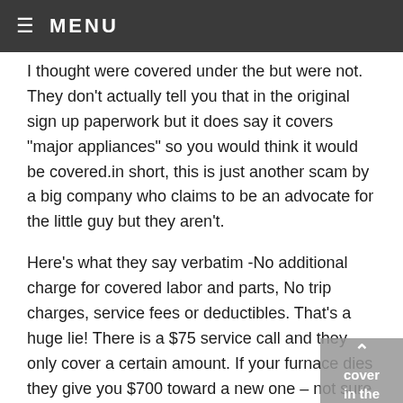≡ MENU
I thought were covered under the but were not. They don't actually tell you that in the original sign up paperwork but it does say it covers "major appliances" so you would think it would be covered.in short, this is just another scam by a big company who claims to be an advocate for the little guy but they aren't.
Here's what they say verbatim -No additional charge for covered labor and parts, No trip charges, service fees or deductibles. That's a huge lie! There is a $75 service call and they only cover a certain amount. If your furnace dies they give you $700 toward a new one – not sure if the deductible is included but lets face it, a new furnace is between $3000-$6000 installed. They basically don't cover what they say and I expect a Class Action Suit will be in the works sometime soon once they piss off enough people.
I'm disappointed really and I'm sure they have that